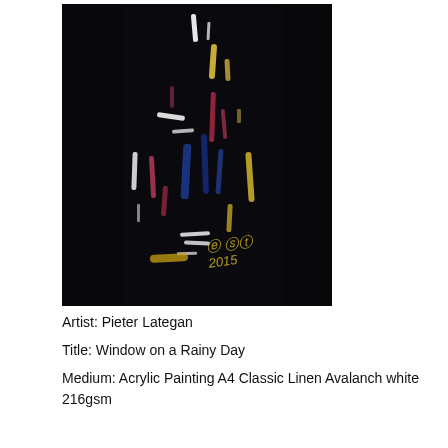[Figure (illustration): Abstract acrylic painting on dark/black background with colorful brush strokes — white, yellow, red/pink, blue — arranged in a vertical rectangular composition. Yellow artist signature visible in the lower right area of the painting.]
Artist: Pieter Lategan
Title: Window on a Rainy Day
Medium: Acrylic Painting A4 Classic Linen Avalanch white 216gsm